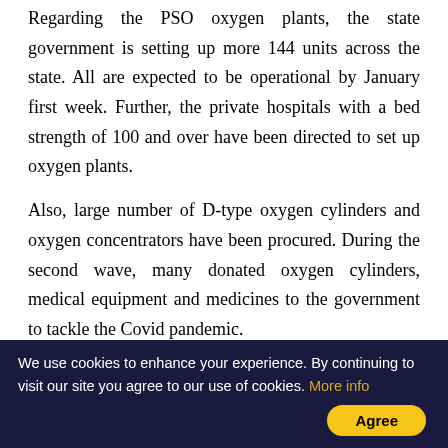Regarding the PSO oxygen plants, the state government is setting up more 144 units across the state. All are expected to be operational by January first week. Further, the private hospitals with a bed strength of 100 and over have been directed to set up oxygen plants.
Also, large number of D-type oxygen cylinders and oxygen concentrators have been procured. During the second wave, many donated oxygen cylinders, medical equipment and medicines to the government to tackle the Covid pandemic.
In view of the Omicron threat, fever surveys are being
We use cookies to enhance your experience. By continuing to visit our site you agree to our use of cookies. More info